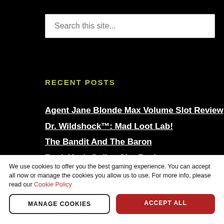Search this site...
RECENT POSTS
Agent Jane Blonde Max Volume Slot Review
Dr. Wildshock™: Mad Loot Lab!
The Bandit And The Baron
Bank Vault Online Slot Review
Oni Hunter Plus Online Slot
We use cookies to offer you the best gaming experience. You can accept all now or manage the cookies you allow us to use. For more info, please read our Cookie Policy
MANAGE COOKIES
ACCEPT ALL